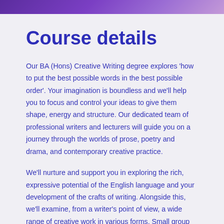Course details
Our BA (Hons) Creative Writing degree explores 'how to put the best possible words in the best possible order'. Your imagination is boundless and we'll help you to focus and control your ideas to give them shape, energy and structure. Our dedicated team of professional writers and lecturers will guide you on a journey through the worlds of prose, poetry and drama, and contemporary creative practice.
We'll nurture and support you in exploring the rich, expressive potential of the English language and your development of the crafts of writing. Alongside this, we'll examine, from a writer's point of view, a wide range of creative work in various forms. Small group teaching and one-to-one support are